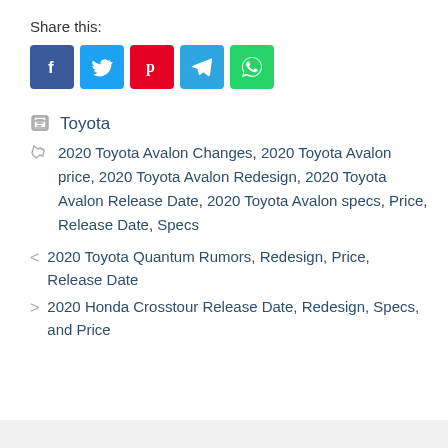Share this:
[Figure (infographic): Social sharing buttons: Facebook (blue), Twitter (light blue), Pinterest (red), Telegram (blue), WhatsApp (green)]
Toyota
2020 Toyota Avalon Changes, 2020 Toyota Avalon price, 2020 Toyota Avalon Redesign, 2020 Toyota Avalon Release Date, 2020 Toyota Avalon specs, Price, Release Date, Specs
< 2020 Toyota Quantum Rumors, Redesign, Price, Release Date
> 2020 Honda Crosstour Release Date, Redesign, Specs, and Price